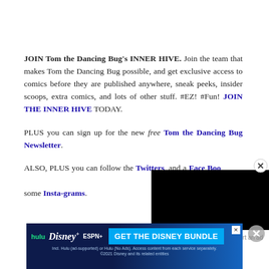JOIN Tom the Dancing Bug's INNER HIVE. Join the team that makes Tom the Dancing Bug possible, and get exclusive access to comics before they are published anywhere, sneak peeks, insider scoops, extra comics, and lots of other stuff. #EZ! #Fun! JOIN THE INNER HIVE TODAY.

PLUS you can sign up for the new free Tom the Dancing Bug Newsletter.

ALSO, PLUS you can follow the Twitters, and a Face Book some Insta-grams.
[Figure (other): Black video overlay rectangle with close button]
Report an ad
[Figure (other): Hulu Disney+ ESPN+ Get the Disney Bundle advertisement banner. Incl. Hulu (ad-supported) or Hulu (No Ads). Access content from each service separately. ©2021 Disney and its related entities]